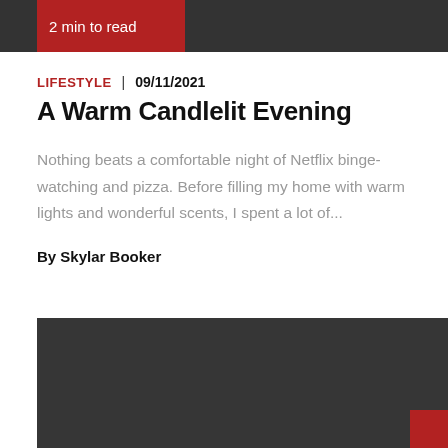2 min to read
LIFESTYLE  |  09/11/2021
A Warm Candlelit Evening
Nothing beats a comfortable night of Netflix binge-watching and pizza. Before filling my home with warm lights and wonderful scents, I spent a lot of...
By Skylar Booker
[Figure (photo): Dark image area at bottom of article card]